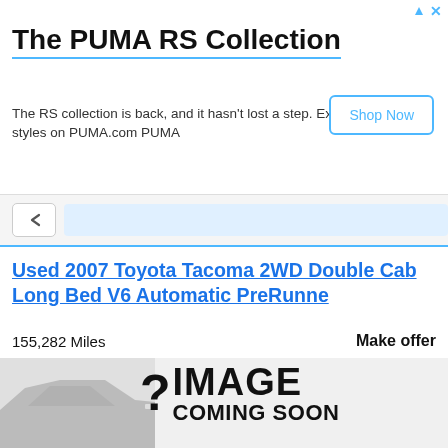[Figure (screenshot): PUMA RS Collection advertisement banner with title, body text, and Shop Now button]
Used 2007 Toyota Tacoma 2WD Double Cab Long Bed V6 Automatic PreRunner
155,282 Miles
Brunswick, GA
Make offer
[Figure (photo): Image Coming Soon placeholder with question mark and partial car silhouette]